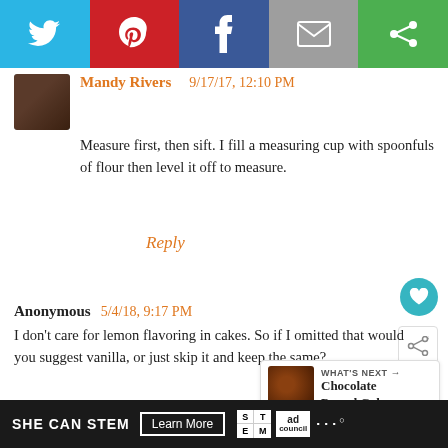[Figure (other): Social sharing bar with Twitter (blue), Pinterest (red), Facebook (blue), Email (grey), and a green share button]
Mandy Rivers   9/17/17, 12:10 PM
Measure first, then sift. I fill a measuring cup with spoonfuls of flour then level it off to measure.
Reply
Anonymous  5/4/18, 9:17 PM
I don't care for lemon flavoring in cakes. So if I omitted that would you suggest vanilla, or just skip it and keep the same?
[Figure (other): WHAT'S NEXT: Chocolate Pound Cake promotional widget with food image]
[Figure (other): SHE CAN STEM advertisement bar with Learn More button, STEM and Ad Council logos]